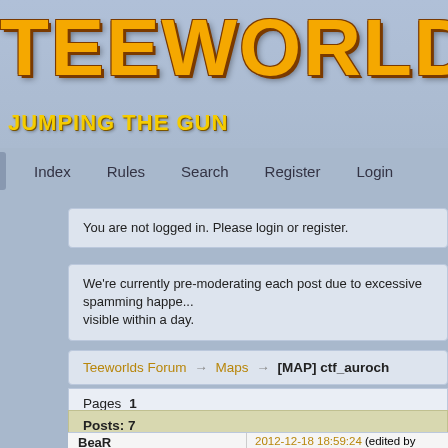TEEWORLDS
JUMPING THE GUN
Index   Rules   Search   Register   Login
You are not logged in. Please login or register.
We're currently pre-moderating each post due to excessive spamming happening. Your post will be visible within a day.
Teeworlds Forum → Maps → [MAP] ctf_auroch
Pages 1
Posts: 7
BeaR
2012-12-18 18:59:24 (edited by Bea...
[Figure (photo): Forum post image link: http://i.solidfiles.net/925cbfae91.p...]